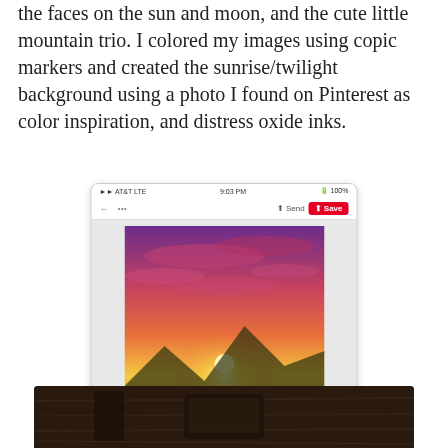the faces on the sun and moon, and the cute little mountain trio. I colored my images using copic markers and created the sunrise/twilight background using a photo I found on Pinterest as color inspiration, and distress oxide inks.
[Figure (screenshot): Screenshot of Pinterest mobile app showing a pin titled 'sunrise and red clouds' with a photo of a dramatic sunrise over mountains with pink/purple wildflowers in the foreground. The app interface shows status bar, navigation bar with Send/Save buttons, and bottom navigation tabs (Home, Following, Notifications, Saved).]
[Figure (photo): Partial photo at the bottom of the page showing what appears to be dark/wooden surface with some objects, cropped at the bottom edge.]